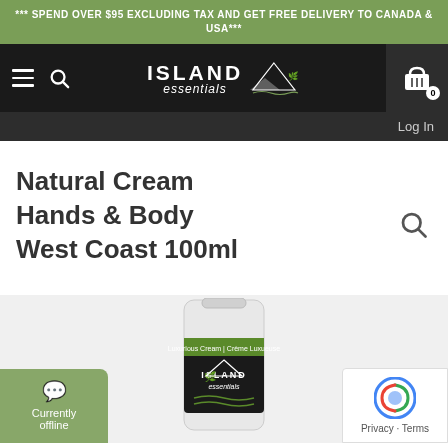*** SPEND OVER $95 EXCLUDING TAX AND GET FREE DELIVERY TO CANADA & USA***
[Figure (logo): Island Essentials logo with mountain/nature graphic on dark navigation bar]
Log In
Natural Cream Hands & Body West Coast 100ml
[Figure (photo): Island Essentials Natural Cream Hands & Body West Coast 100ml product tube with black and green label]
Currently offline